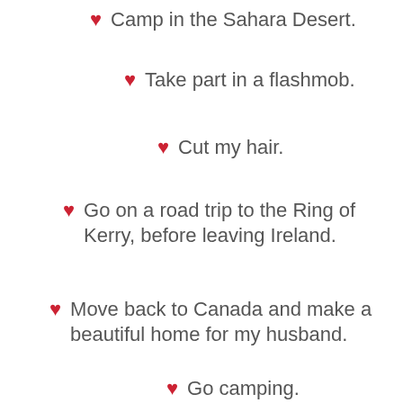❤ Camp in the Sahara Desert.
❤ Take part in a flashmob.
❤ Cut my hair.
❤ Go on a road trip to the Ring of Kerry, before leaving Ireland.
❤ Move back to Canada and make a beautiful home for my husband.
❤ Go camping.